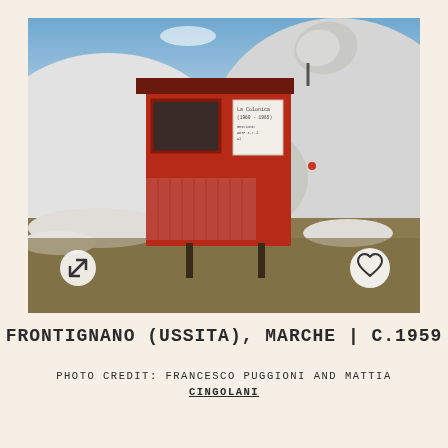[Figure (photo): A red corrugated metal hut/cabin on stilts in a snowy mountain landscape in Frontignano, Ussita, Marche, Italy. The hut has a satellite dish on top, a window, and a notice sign on the front. Snow-covered hills visible in background under blue sky with clouds. Expand icon (arrows) in bottom-left and heart/favorite icon in bottom-right of the image.]
FRONTIGNANO (USSITA), MARCHE | C.1959
PHOTO CREDIT: FRANCESCO PUGGIONI AND MATTIA CINGOLANI